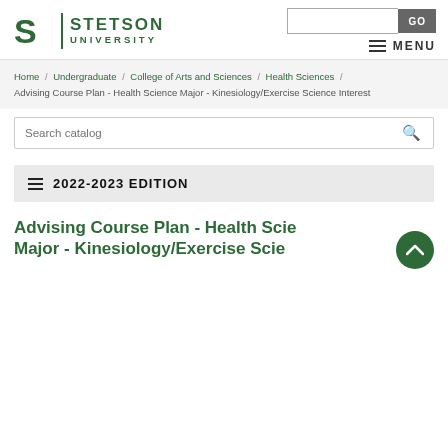[Figure (logo): Stetson University logo with green S icon and text 'STETSON UNIVERSITY']
GO | MENU
Home / Undergraduate / College of Arts and Sciences / Health Sciences / Advising Course Plan - Health Science Major - Kinesiology/Exercise Science Interest
Search catalog
2022-2023 EDITION
Advising Course Plan - Health Science Major - Kinesiology/Exercise Scie...